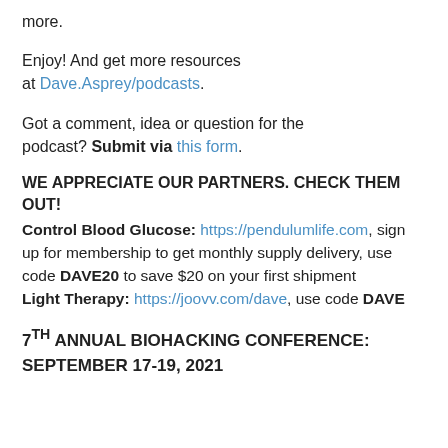more.
Enjoy! And get more resources at Dave.Asprey/podcasts.
Got a comment, idea or question for the podcast? Submit via this form.
WE APPRECIATE OUR PARTNERS. CHECK THEM OUT!
Control Blood Glucose: https://pendulumlife.com, sign up for membership to get monthly supply delivery, use code DAVE20 to save $20 on your first shipment
Light Therapy: https://joovv.com/dave, use code DAVE
7TH ANNUAL BIOHACKING CONFERENCE: SEPTEMBER 17-19, 2021